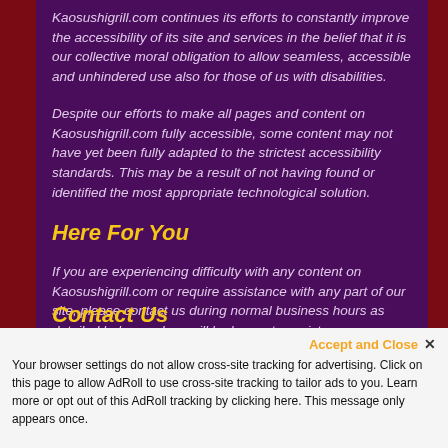Kaosushigrill.com continues its efforts to constantly improve the accessibility of its site and services in the belief that it is our collective moral obligation to allow seamless, accessible and unhindered use also for those of us with disabilities.
Despite our efforts to make all pages and content on Kaosushigrill.com fully accessible, some content may not have yet been fully adapted to the strictest accessibility standards. This may be a result of not having found or identified the most appropriate technological solution.
Here For You
If you are experiencing difficulty with any content on Kaosushigrill.com or require assistance with any part of our site, please contact us during normal business hours as detailed below and we will be happy to assist.
Contact Us
Your browser settings do not allow cross-site tracking for advertising. Click on this page to allow AdRoll to use cross-site tracking to tailor ads to you. Learn more or opt out of this AdRoll tracking by clicking here. This message only appears once.